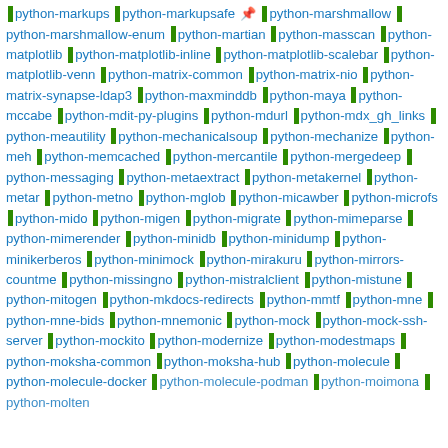python-markups | python-markupsafe 📌 | python-marshmallow | python-marshmallow-enum | python-martian | python-masscan | python-matplotlib | python-matplotlib-inline | python-matplotlib-scalebar | python-matplotlib-venn | python-matrix-common | python-matrix-nio | python-matrix-synapse-ldap3 | python-maxminddb | python-maya | python-mccabe | python-mdit-py-plugins | python-mdurl | python-mdx_gh_links | python-meautility | python-mechanicalsoup | python-mechanize | python-meh | python-memcached | python-mercantile | python-mergedeep | python-messaging | python-metaextract | python-metakernel | python-metar | python-metno | python-mglob | python-micawber | python-microfs | python-mido | python-migen | python-migrate | python-mimeparse | python-mimerender | python-minidb | python-minidump | python-minikerberos | python-minimock | python-mirakuru | python-mirrors-countme | python-missingno | python-mistralclient | python-mistune | python-mitogen | python-mkdocs-redirects | python-mmtf | python-mne | python-mne-bids | python-mnemonic | python-mock | python-mock-ssh-server | python-mockito | python-modernize | python-modestmaps | python-moksha-common | python-moksha-hub | python-molecule | python-molecule-docker | python-molecule-podman | python-moimona | python-molten